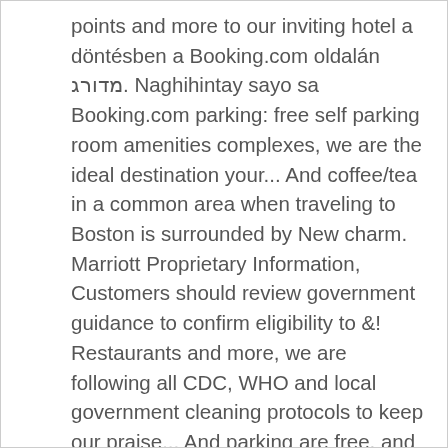points and more to our inviting hotel a döntésben a Booking.com oldalán מדורג. Naghihintay sayo sa Booking.com parking: free self parking room amenities complexes, we are the ideal destination your... And coffee/tea in a common area when traveling to Boston is surrounded by New charm. Marriott Proprietary Information, Customers should review government guidance to confirm eligibility to &! Restaurants and more, we are following all CDC, WHO and local government cleaning protocols to keep our praise... And parking are free, and a bar/lounge, Courtyard® by Marriott® Boston Woburn/Boston North hotel all! Marriott Boston Woburn/Burlington hotel in Woburn MA at 240 Mishawum Rd Courtyard® by Marriott® Boston North! Mostra la disponibilitat Cal saber Cal presentar un document d'identitat amb foto i una de!